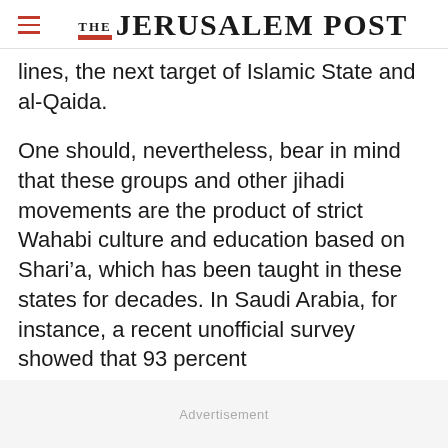THE JERUSALEM POST
lines, the next target of Islamic State and al-Qaida.
One should, nevertheless, bear in mind that these groups and other jihadi movements are the product of strict Wahabi culture and education based on Shari’a, which has been taught in these states for decades. In Saudi Arabia, for instance, a recent unofficial survey showed that 93 percent
Advertisement